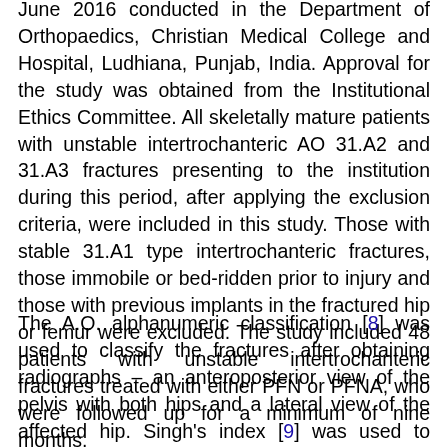June 2016 conducted in the Department of Orthopaedics, Christian Medical College and Hospital, Ludhiana, Punjab, India. Approval for the study was obtained from the Institutional Ethics Committee. All skeletally mature patients with unstable intertrochanteric AO 31.A2 and 31.A3 fractures presenting to the institution during this period, after applying the exclusion criteria, were included in this study. Those with stable 31.A1 type intertrochanteric fractures, those immobile or bed-ridden prior to injury and those with previous implants in the fractured hip or femur were excluded. The study included 48 patients with unstable intertrochanteric fractures treated with either PFN or PFNA, who were followed up for a minimum of nine months.
The A.O. alphanumeric classification [8] was used to classify the fractures after obtaining radiographs – an anteroposterior view of the pelvis with both hips and a lateral view of the affected hip. Singh's index [9] was used to grade the radiographs for the degree of osteoporosis. Preoperative and postoperative haemoglobin and units of blood transfused were recorded. The operative time was recorded as per the anaesthesia record sheet.